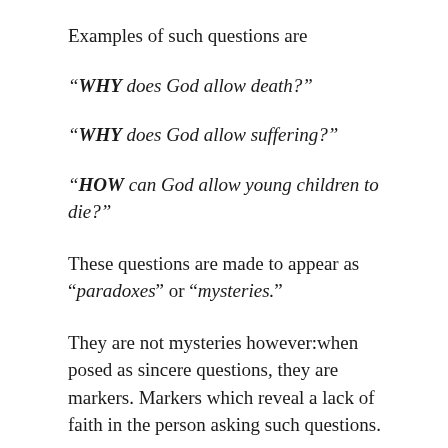Examples of such questions are
“WHY does God allow death?”
“WHY does God allow suffering?”
“HOW can God allow young children to die?”
These questions are made to appear as “paradoxes” or “mysteries.”
They are not mysteries however:when posed as sincere questions, they are markers. Markers which reveal a lack of faith in the person asking such questions.